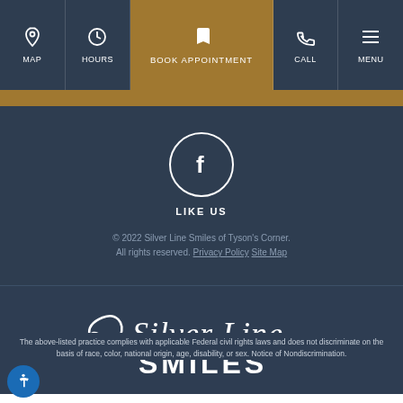MAP | HOURS | BOOK APPOINTMENT | CALL | MENU
[Figure (logo): Facebook circular icon with 'LIKE US' label]
© 2022 Silver Line Smiles of Tyson's Corner. All rights reserved. Privacy Policy Site Map
[Figure (logo): Silver Line Smiles cursive and bold logo in white]
The above-listed practice complies with applicable Federal civil rights laws and does not discriminate on the basis of race, color, national origin, age, disability, or sex. Notice of Nondiscrimination.